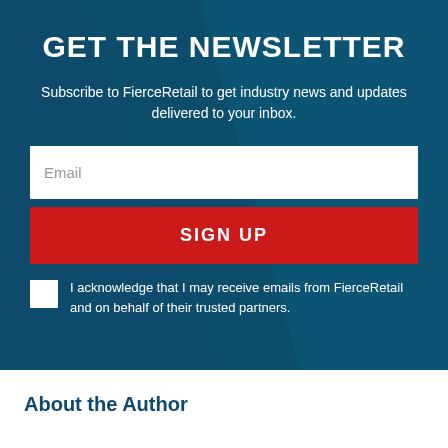GET THE NEWSLETTER
Subscribe to FierceRetail to get industry news and updates delivered to your inbox.
Email
SIGN UP
I acknowledge that I may receive emails from FierceRetail and on behalf of their trusted partners.
About the Author